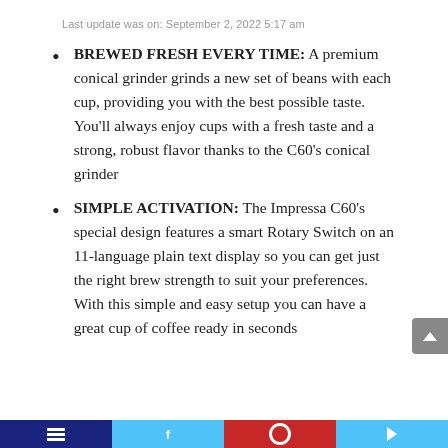Last update was on: September 2, 2022 5:17 am
BREWED FRESH EVERY TIME: A premium conical grinder grinds a new set of beans with each cup, providing you with the best possible taste. You'll always enjoy cups with a fresh taste and a strong, robust flavor thanks to the C60's conical grinder
SIMPLE ACTIVATION: The Impressa C60's special design features a smart Rotary Switch on an 11-language plain text display so you can get just the right brew strength to suit your preferences. With this simple and easy setup you can have a great cup of coffee ready in seconds